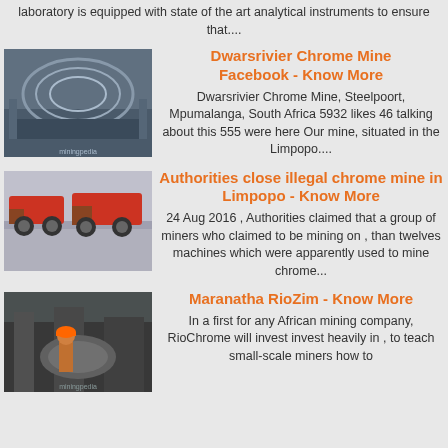laboratory is equipped with state of the art analytical instruments to ensure that....
[Figure (photo): Industrial mining machinery with rotating drums/filters]
Dwarsrivier Chrome Mine Facebook - Know More
Dwarsrivier Chrome Mine, Steelpoort, Mpumalanga, South Africa 5932 likes 46 talking about this 555 were here Our mine, situated in the Limpopo....
[Figure (photo): Road construction or mining machinery on pavement]
Authorities close illegal chrome mine in Limpopo - Know More
24 Aug 2016 , Authorities claimed that a group of miners who claimed to be mining on , than twelves machines which were apparently used to mine chrome...
[Figure (photo): Worker in hard hat operating mining equipment in industrial facility]
Maranatha RioZim - Know More
In a first for any African mining company, RioChrome will invest invest heavily in , to teach small-scale miners how to